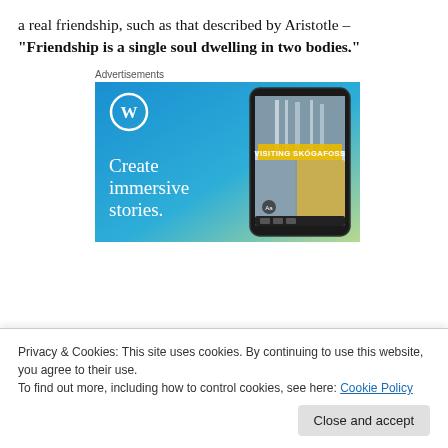a real friendship, such as that described by Aristotle – "Friendship is a single soul dwelling in two bodies."
[Figure (illustration): WordPress advertisement: blue gradient background with WordPress logo (W in circle), text 'Create immersive stories.' and a phone showing a waterfall photo with 'VISITING SKOGAFOSS' label]
Privacy & Cookies: This site uses cookies. By continuing to use this website, you agree to their use.
To find out more, including how to control cookies, see here: Cookie Policy
Close and accept
share such a bond that it's like your two bodies share one